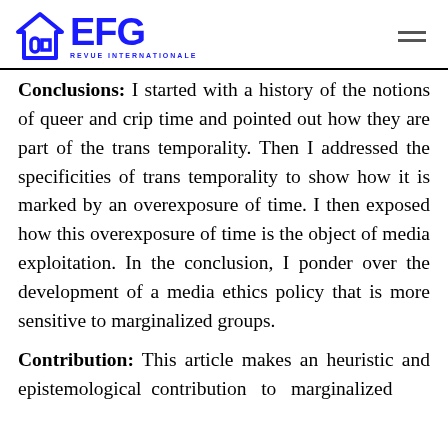EFG REVUE INTERNATIONALE
Conclusions: I started with a history of the notions of queer and crip time and pointed out how they are part of the trans temporality. Then I addressed the specificities of trans temporality to show how it is marked by an overexposure of time. I then exposed how this overexposure of time is the object of media exploitation. In the conclusion, I ponder over the development of a media ethics policy that is more sensitive to marginalized groups.
Contribution: This article makes an heuristic and epistemological contribution to marginalized